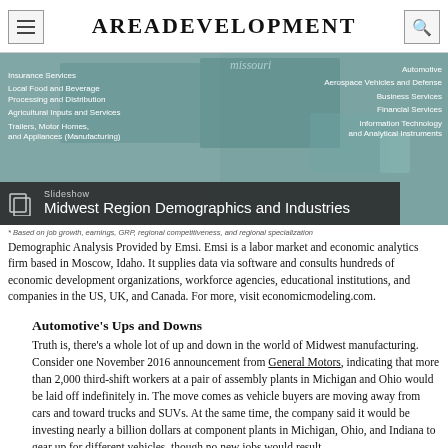AreaDevelopment
[Figure (map): Map showing Midwest region industries including Insurance Services, Local Food and Beverage Processing and Distribution, Agricultural Inputs and Services, Trailers, Motor Homes and Appliances (Manufacturing) on the left; Automotive, Aerospace Vehicles and Defense, Business Services, Financial Services, Information Technology and Analytical Instruments on the right. A slideshow overlay reads 'Midwest Region Demographics and Industries'.]
* Based on job growth, earnings, GRP, regional competitiveness, and regional specialization
Demographic Analysis Provided by Emsi. Emsi is a labor market and economic analytics firm based in Moscow, Idaho. It supplies data via software and consults hundreds of economic development organizations, workforce agencies, educational institutions, and companies in the US, UK, and Canada. For more, visit economicmodeling.com.
Automotive's Ups and Downs
Truth is, there's a whole lot of up and down in the world of Midwest manufacturing. Consider one November 2016 announcement from General Motors, indicating that more than 2,000 third-shift workers at a pair of assembly plants in Michigan and Ohio would be laid off indefinitely in. The move comes as vehicle buyers are moving away from cars and toward trucks and SUVs. At the same time, the company said it would be investing nearly a billion dollars at component plants in Michigan, Ohio, and Indiana to gear up for different vehicles, though no new jobs would result.